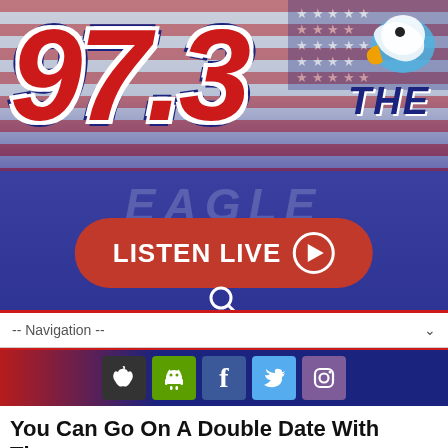[Figure (logo): 97.3 The Eagle radio station logo with American flag background, bald eagle graphic, large red '97.3' numerals and 'THE EAGLE' text on blue background]
[Figure (screenshot): LISTEN LIVE button with play icon (red rounded rectangle) and search icon below]
[Figure (screenshot): Navigation dropdown bar with '-- Navigation --' placeholder and chevron]
[Figure (infographic): Social media icon bar showing Apple, Android, Facebook, Twitter, Instagram icons]
You Can Go On A Double Date With These